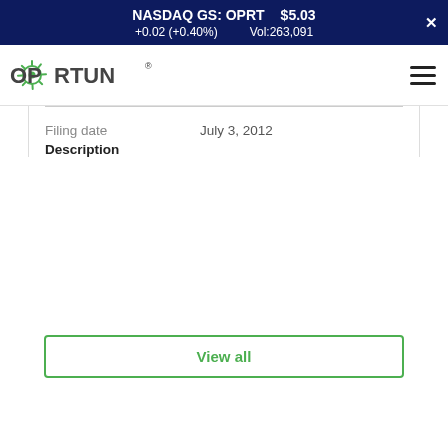NASDAQ GS: OPRT  $5.03  +0.02 (+0.40%)  Vol:263,091
[Figure (logo): Oportun logo with green sunburst icon and dark gray text]
Filing date
Description
July 3, 2012
View all